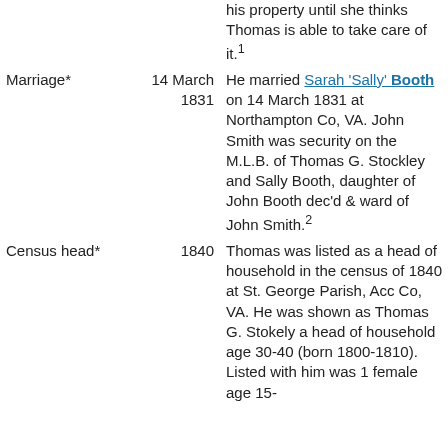| Event | Date | Description |
| --- | --- | --- |
|  |  | his property until she thinks Thomas is able to take care of it.[1] |
| Marriage* | 14 March 1831 | He married Sarah 'Sally' Booth on 14 March 1831 at Northampton Co, VA. John Smith was security on the M.L.B. of Thomas G. Stockley and Sally Booth, daughter of John Booth dec'd & ward of John Smith.[2] |
| Census head* | 1840 | Thomas was listed as a head of household in the census of 1840 at St. George Parish, Acc Co, VA. He was shown as Thomas G. Stokely a head of household age 30-40 (born 1800-1810). Listed with him was 1 female age 15- |